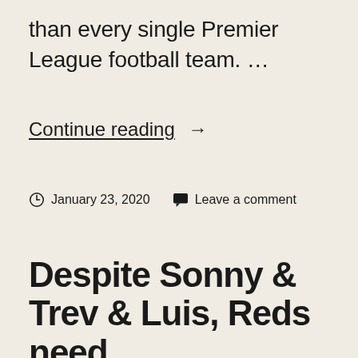than every single Premier League football team. …
Continue reading →
January 23, 2020  Leave a comment
Despite Sonny & Trev & Luis, Reds need